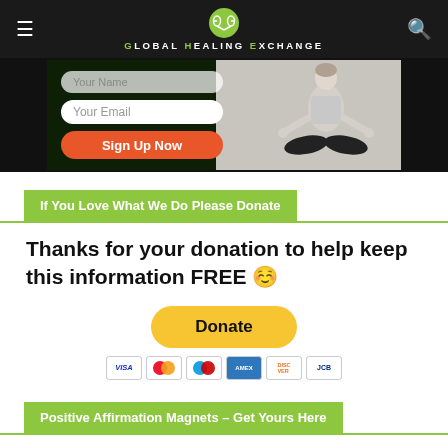Global Healing Exchange
[Figure (screenshot): Email signup form with 'Your Email' input field and orange 'Sign Up Now' button, with a woman in yoga pose on the right side, dark background]
If You Love What We Do Please Donate
Thanks for your donation to help keep this information FREE 🙂
[Figure (other): PayPal Donate button in yellow with credit card icons below (Visa, Mastercard, Maestro, AmEx, Discover, JCB)]
Positive Affirmation Magnets – Get Yours Here